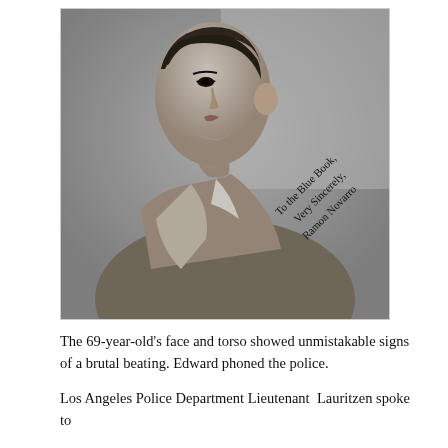[Figure (photo): Black and white vintage portrait photo of a young man in profile/three-quarter view, wearing an open-collared shirt. The photo has a handwritten inscription that reads: 'To the Blue Book, Very Sincerely, Ramon Novarro']
The 69-year-old's face and torso showed unmistakable signs of a brutal beating. Edward phoned the police.
Los Angeles Police Department Lieutenant Lauritzen spoke to